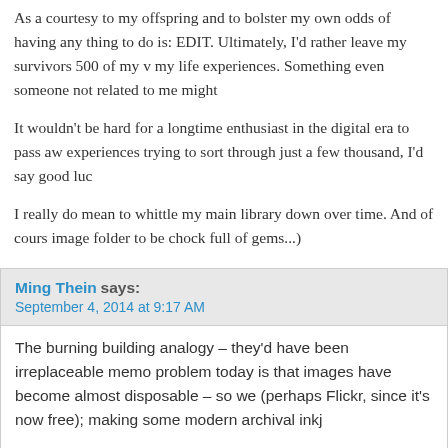As a courtesy to my offspring and to bolster my own odds of having any thing to do is: EDIT. Ultimately, I'd rather leave my survivors 500 of my v my life experiences. Something even someone not related to me might
It wouldn't be hard for a longtime enthusiast in the digital era to pass aw experiences trying to sort through just a few thousand, I'd say good luc
I really do mean to whittle my main library down over time. And of cours image folder to be chock full of gems...)
Ming Thein says:
September 4, 2014 at 9:17 AM
The burning building analogy – they'd have been irreplaceable memo problem today is that images have become almost disposable – so we (perhaps Flickr, since it's now free); making some modern archival inkj
My survivors will be getting the best of the best portfolio, which I'm cu every two years, and several folders of Ultraprints. I think those shou goes away once it's on the internet!
I always believe my best image will be the next one. Otherwise, there